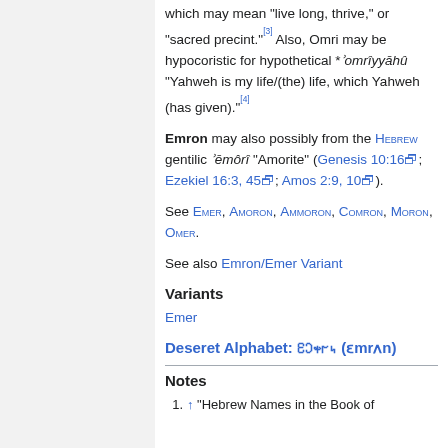which may mean "live long, thrive," or "sacred precint."[3] Also, Omri may be hypocoristic for hypothetical *ʾomrîyyāhû "Yahweh is my life/(the) life, which Yahweh (has given)."[4]
Emron may also possibly from the Hebrew gentilic ʾēmôrî "Amorite" (Genesis 10:16; Ezekiel 16:3, 45; Amos 2:9, 10).
See Emer, Amoron, Ammoron, Comron, Moron, Omer.
See also Emron/Emer Variant
Variants
Emer
Deseret Alphabet: 𐐁𐐣𐑉𐐲𐑌 (ɛmrʌn)
Notes
1. ↑ "Hebrew Names in the Book of